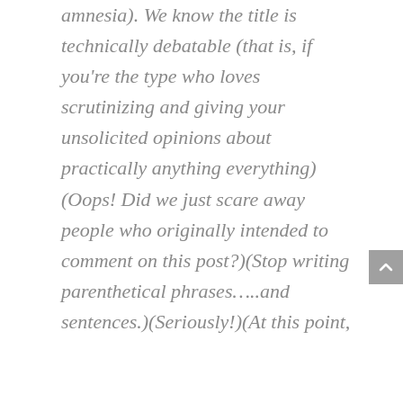amnesia). We know the title is technically debatable (that is, if you're the type who loves scrutinizing and giving your unsolicited opinions about practically anything everything)(Oops! Did we just scare away people who originally intended to comment on this post?)(Stop writing parenthetical phrases…..and sentences.)(Seriously!)(At this point,